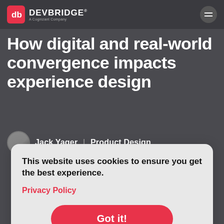DEVBRIDGE — A Cognizant Company
How digital and real-world convergence impacts experience design
Jack Yager  |  Product Design
This website uses cookies to ensure you get the best experience.
Privacy Policy
Got it!